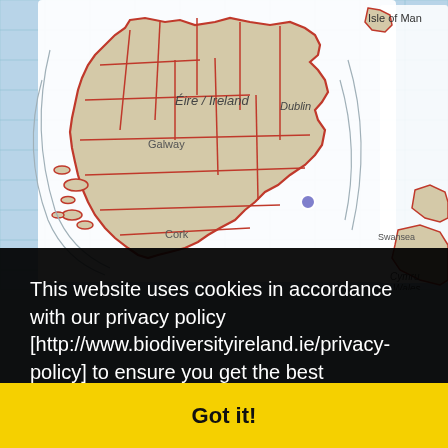[Figure (map): A map showing Ireland (Éire/Ireland) with red county boundaries overlaid, showing Dublin, Galway, Cork labels. Isle of Man visible top right, Wales (Cymru/Wales) at right edge, Swansea at lower right. Blue dot marker near southeast coast of Ireland. Map background is light blue for sea and light tan for land.]
This website uses cookies in accordance with our privacy policy [http://www.biodiversityireland.ie/privacy-policy] to ensure you get the best experience on our website.  Learn more
Got it!